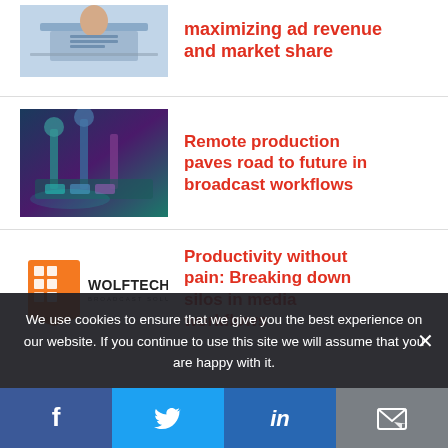[Figure (photo): Person working on laptop, partial view from top]
maximizing ad revenue and market share
[Figure (photo): Broadcast production equipment, teal/purple toned studio setup]
Remote production paves road to future in broadcast workflows
[Figure (logo): Wolftech Broadcast Solutions logo — orange geometric icon with WOLFTECH text]
Productivity without pain: Breaking down silos in media workflows
We use cookies to ensure that we give you the best experience on our website. If you continue to use this site we will assume that you are happy with it.